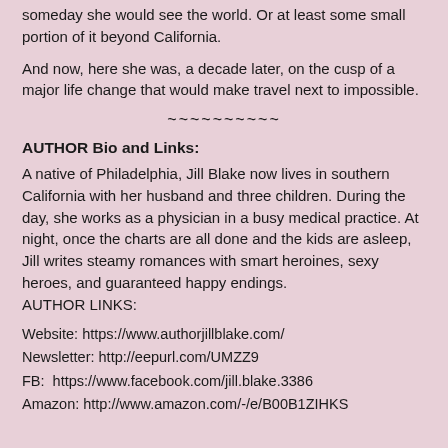someday she would see the world. Or at least some small portion of it beyond California.
And now, here she was, a decade later, on the cusp of a major life change that would make travel next to impossible.
~~~~~~~~~~
AUTHOR Bio and Links:
A native of Philadelphia, Jill Blake now lives in southern California with her husband and three children. During the day, she works as a physician in a busy medical practice. At night, once the charts are all done and the kids are asleep, Jill writes steamy romances with smart heroines, sexy heroes, and guaranteed happy endings.
AUTHOR LINKS:
Website: https://www.authorjillblake.com/
Newsletter: http://eepurl.com/UMZZ9
FB:  https://www.facebook.com/jill.blake.3386
Amazon: http://www.amazon.com/-/e/B00B1ZIHKS